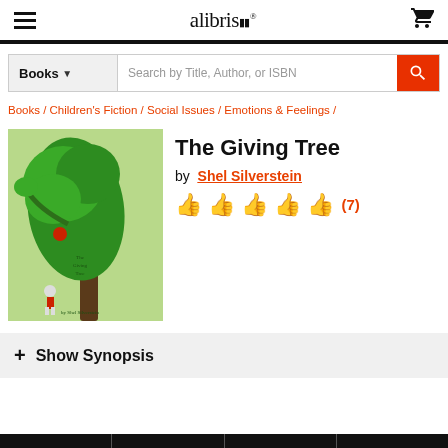alibris
Books | Search by Title, Author, or ISBN
Books / Children's Fiction / Social Issues / Emotions & Feelings /
[Figure (illustration): Book cover of The Giving Tree showing a large green tree with a small child at its base]
The Giving Tree
by Shel Silverstein
Rating: 5 thumbs up (7)
+ Show Synopsis